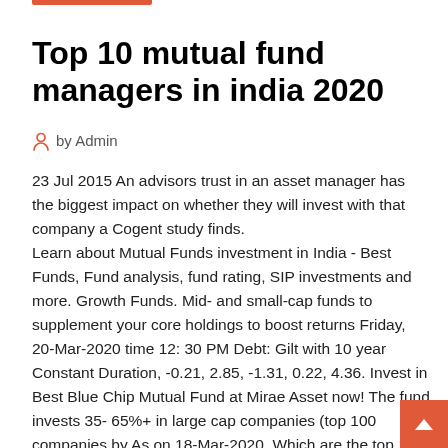Top 10 mutual fund managers in india 2020
by Admin
23 Jul 2015 An advisors trust in an asset manager has the biggest impact on whether they will invest with that company a Cogent study finds.
Learn about Mutual Funds investment in India - Best Funds, Fund analysis, fund rating, SIP investments and more. Growth Funds. Mid- and small-cap funds to supplement your core holdings to boost returns Friday, 20-Mar-2020 time 12: 30 PM Debt: Gilt with 10 year Constant Duration, -0.21, 2.85, -1.31, 0.22, 4.36. Invest in Best Blue Chip Mutual Fund at Mirae Asset now! The fund invests 35- 65%+ in large cap companies (top 100 companies by As on 18-Mar-2020 Which are the top 10 mutual fund for beginners who are starting out in 2019? 11,978 Vi 1.mirae bluechip 2.invesco India growth opportunities. Multicap 1...